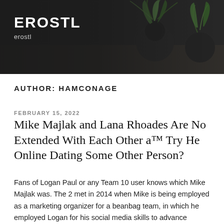[Figure (photo): Website header banner with dark background, plants in pots visible on the right side, with site title EROSTL and subtitle erostl overlaid in white text on the left]
EROSTL
erostl
AUTHOR: HAMCONAGE
FEBRUARY 15, 2022
Mike Majlak and Lana Rhoades Are No Extended With Each Other a™ Try He Online Dating Some Other Person?
Fans of Logan Paul or any Team 10 user knows which Mike Majlak was. The 2 met in 2014 when Mike is being employed as a marketing organizer for a beanbag team, in which he employed Logan for his social media skills to advance encourage the company. The two shortly